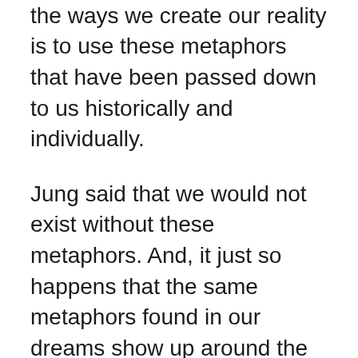metaphors and that one of the ways we create our reality is to use these metaphors that have been passed down to us historically and individually.
Jung said that we would not exist without these metaphors. And, it just so happens that the same metaphors found in our dreams show up around the world in peoples' Reverse Speech regardless of what language they speak.
So, when we do a Reverse Speech session, we find out by talking forward about the things we are concerned about and how they feel